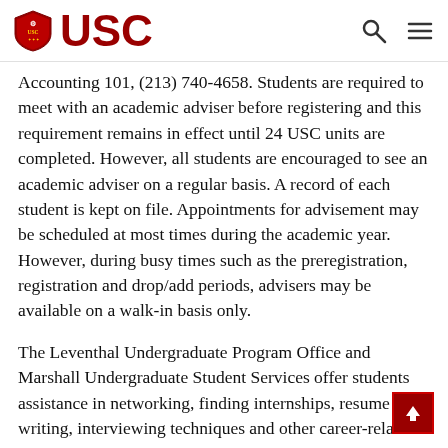USC
Accounting 101, (213) 740-4658. Students are required to meet with an academic adviser before registering and this requirement remains in effect until 24 USC units are completed. However, all students are encouraged to see an academic adviser on a regular basis. A record of each student is kept on file. Appointments for advisement may be scheduled at most times during the academic year. However, during busy times such as the preregistration, registration and drop/add periods, advisers may be available on a walk-in basis only.
The Leventhal Undergraduate Program Office and Marshall Undergraduate Student Services offer students assistance in networking, finding internships, resume writing, interviewing techniques and other career-related issues.